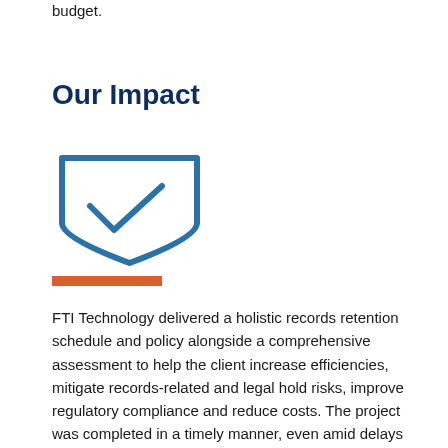budget.
Our Impact
[Figure (illustration): A shield icon with a checkmark inside, rendered in blue outline style]
FTI Technology delivered a holistic records retention schedule and policy alongside a comprehensive assessment to help the client increase efficiencies, mitigate records-related and legal hold risks, improve regulatory compliance and reduce costs. The project was completed in a timely manner, even amid delays due to covid-19, allowing the client to quickly address key risks and support an effective roll-out for Microsoft